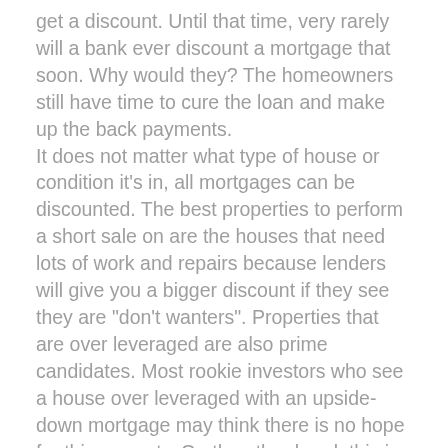get a discount. Until that time, very rarely will a bank ever discount a mortgage that soon. Why would they? The homeowners still have time to cure the loan and make up the back payments. It does not matter what type of house or condition it's in, all mortgages can be discounted. The best properties to perform a short sale on are the houses that need lots of work and repairs because lenders will give you a bigger discount if they see they are "don't wanters". Properties that are over leveraged are also prime candidates. Most rookie investors who see a house over leveraged with an upside-down mortgage may think there is no hope for this property. On the other hand, this is a sweet deal to the savvy investor. Properties with large 2nd mortgages are also treated as gold because the 2nd mortgage is wiped out at the foreclosure auction. Lenders with a 2nd and 3rd mortgage position would rather have something than nothing.